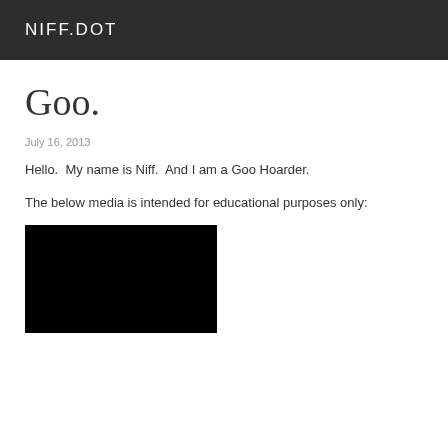NIFF.DOT
Goo.
July 16, 2013
Hello.  My name is Niff.  And I am a Goo Hoarder.
The below media is intended for educational purposes only:
[Figure (other): Black video/media embed placeholder]